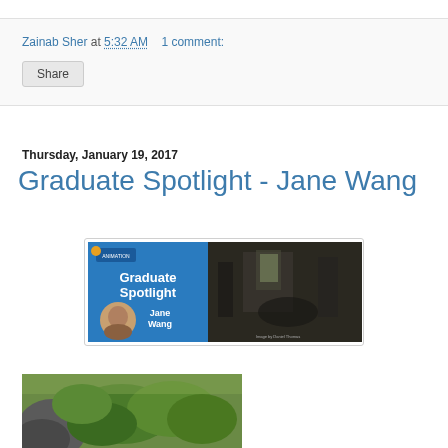Zainab Sher at 5:32 AM   1 comment:
Share
Thursday, January 19, 2017
Graduate Spotlight - Jane Wang
[Figure (photo): Graduate Spotlight banner image featuring 'Jane Wang' text overlay on left blue panel with portrait photo, and a dark fantasy interior scene on right]
[Figure (photo): Outdoor nature photo with rocks and green foliage, partial view]